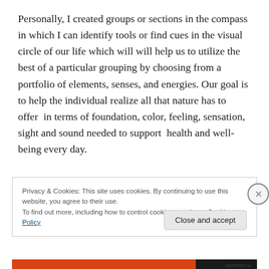Personally, I created groups or sections in the compass in which I can identify tools or find cues in the visual circle of our life which will will help us to utilize the best of a particular grouping by choosing from a portfolio of elements, senses, and energies. Our goal is to help the individual realize all that nature has to offer  in terms of foundation, color, feeling, sensation, sight and sound needed to support  health and well-being every day.
Privacy & Cookies: This site uses cookies. By continuing to use this website, you agree to their use.
To find out more, including how to control cookies, see here: Cookie Policy
Close and accept